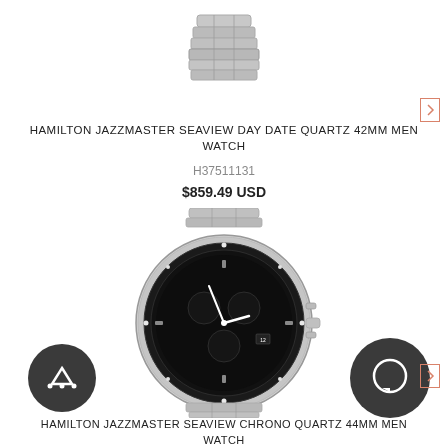[Figure (photo): Partial view of a silver watch bracelet/bracelet clasp from above, cropped at top of page]
HAMILTON JAZZMASTER SEAVIEW DAY DATE QUARTZ 42MM MEN WATCH
H37511131
$859.49 USD
[Figure (photo): Hamilton Jazzmaster Seaview Chrono Quartz 44mm men's watch with black dial, silver stainless steel bracelet and black bezel with crystal markers]
HAMILTON JAZZMASTER SEAVIEW CHRONO QUARTZ 44MM MEN WATCH